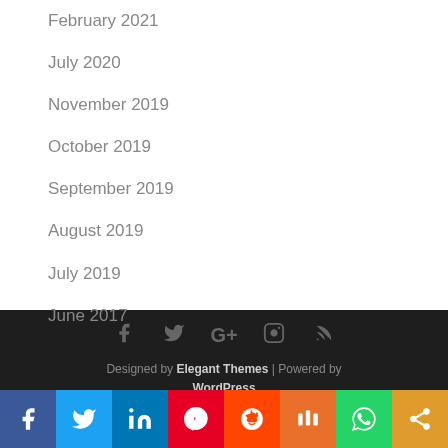February 2021
July 2020
November 2019
October 2019
September 2019
August 2019
July 2019
June 2017
Designed by Elegant Themes | Powered by WordPress